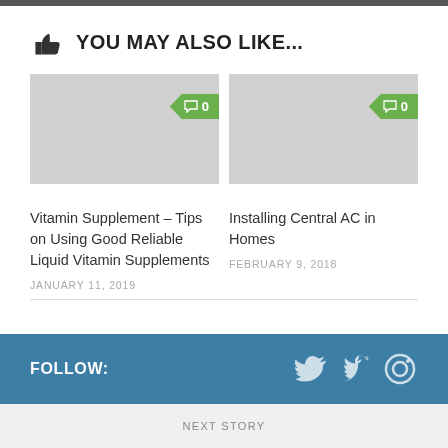YOU MAY ALSO LIKE...
[Figure (photo): Gray placeholder image with green comment badge showing '0']
[Figure (photo): Gray placeholder image with green comment badge showing '0']
Vitamin Supplement – Tips on Using Good Reliable Liquid Vitamin Supplements
JANUARY 11, 2019
Installing Central AC in Homes
FEBRUARY 9, 2018
FOLLOW:
NEXT STORY